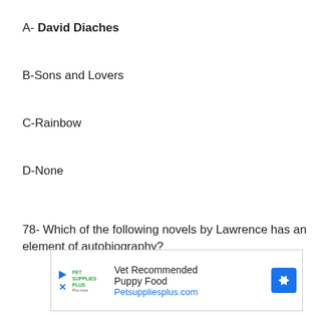A- David Diaches
B-Sons and Lovers
C-Rainbow
D-None
78- Which of the following novels by Lawrence has an element of autobiography?
[Figure (other): Advertisement for Pet Supplies Plus: Vet Recommended Puppy Food, Petsuppliesplus.com]